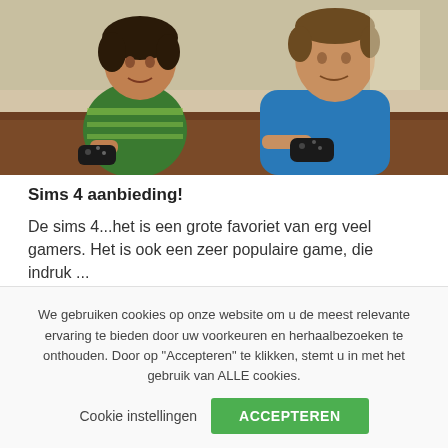[Figure (photo): Two children sitting at a table holding game controllers. One younger child in a green striped shirt on the left, one older child in a blue long-sleeve shirt on the right.]
Sims 4 aanbieding!
De sims 4...het is een grote favoriet van erg veel gamers. Het is ook een zeer populaire game, die indruk ...
Verder lezen
We gebruiken cookies op onze website om u de meest relevante ervaring te bieden door uw voorkeuren en herhaalbezoeken te onthouden. Door op "Accepteren" te klikken, stemt u in met het gebruik van ALLE cookies.
Cookie instellingen
ACCEPTEREN